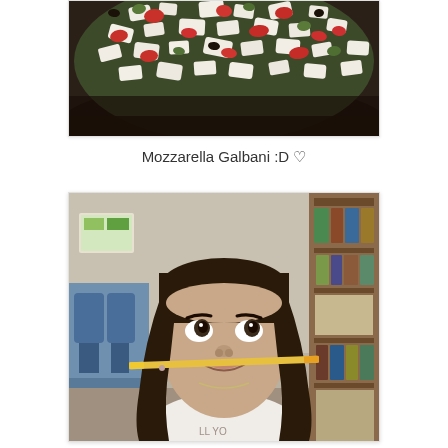[Figure (photo): Close-up photo of a Greek salad with crumbled white mozzarella/feta cheese, red tomatoes, green vegetables on a dark plate]
Mozzarella Galbani :D ♡
[Figure (photo): Photo of a young girl with long dark hair smiling, holding a pencil between her upper lip and nose in a classroom setting with blue chairs and bookshelves in the background]